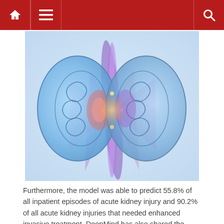Navigation bar with home, menu, and search icons
[Figure (illustration): Digital illustration of two kidneys with glowing blue and purple tones, internal anatomy visible, red and purple light beams connecting them at center, set against a light blue background]
Furthermore, the model was able to predict 55.8% of all inpatient episodes of acute kidney injury and 90.2% of all acute kidney injuries that needed enhanced invasive treatment. DeepMind has also shared the results of a peer review of its mobile medical assistant called Streams. Streams has been used at the Royal Free London NHS Foundation Trust ever since the start of 2017. The app relies on an AKI algorithm for detection of patient deterioration and is capable of accessing the